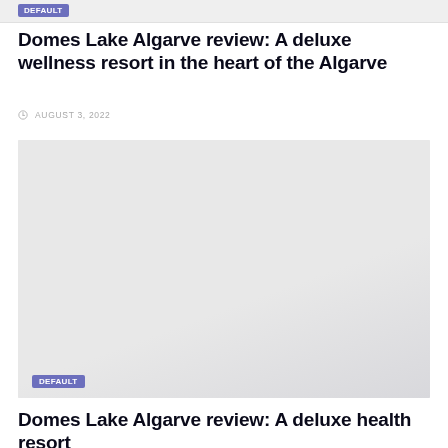[Figure (screenshot): Top portion of a previous article card with gray placeholder image and DEFAULT badge]
Domes Lake Algarve review: A deluxe wellness resort in the heart of the Algarve
AUGUST 3, 2022
[Figure (photo): Large gray placeholder image with DEFAULT badge overlay at bottom left]
Domes Lake Algarve review: A deluxe health resort